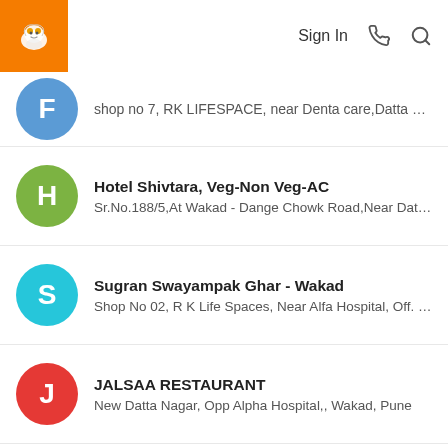Sign In
shop no 7, RK LIFESPACE, near Denta care,Datta Mandir ...
Hotel Shivtara, Veg-Non Veg-AC
Sr.No.188/5,At Wakad - Dange Chowk Road,Near Datta ...
Sugran Swayampak Ghar - Wakad
Shop No 02, R K Life Spaces, Near Alfa Hospital, Off. Dat...
JALSAA RESTAURANT
New Datta Nagar, Opp Alpha Hospital,, Wakad, Pune
PANJABI SWAD FAMILY RESTOURANT
sr no 188/5, at post near datta mandir, opp ALPHA HISPIT...
MKs Yummy & Tasty Food
Shop no.1, In Front Of Suryadatta College, Bavdhan, Pune